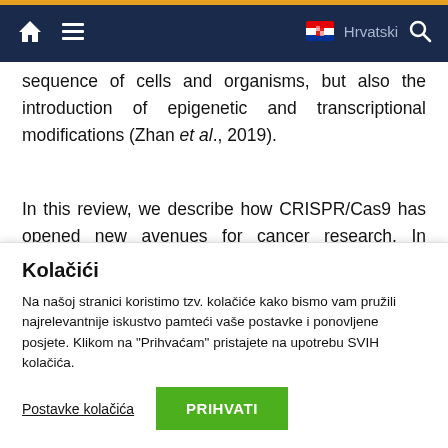Navigation bar with home icon, menu icon, Croatian flag, Hrvatski, search icon
sequence of cells and organisms, but also the introduction of epigenetic and transcriptional modifications (Zhan et al., 2019).
In this review, we describe how CRISPR/Cas9 has opened new avenues for cancer research. In addition to its application as an effective screening method in
Kolačići
Na našoj stranici koristimo tzv. kolačiće kako bismo vam pružili najrelevantnije iskustvo pamteći vaše postavke i ponovljene posjete. Klikom na "Prihvaćam" pristajete na upotrebu SVIH kolačića.
Postavke kolačića  PRIHVATI